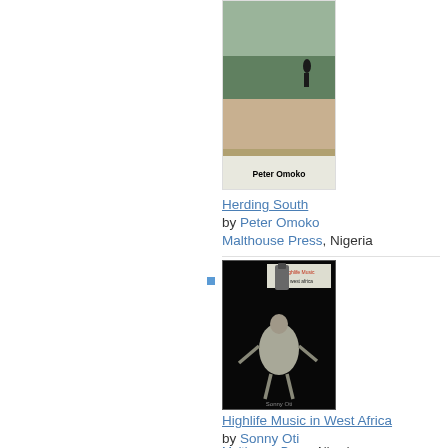[Figure (photo): Book cover of 'Herding South' by Peter Omoko, landscape/nature imagery with author name at bottom]
Herding South
by Peter Omoko
Malthouse Press, Nigeria
[Figure (photo): Book cover of 'Highlife Music in West Africa' by Sonny Oti, black cover with illustrated musician figure]
Highlife Music in West Africa
by Sonny Oti
Malthouse Press, Nigeria
[Figure (photo): Book cover of 'I remember Syl and other Stories', dark blue background with title text]